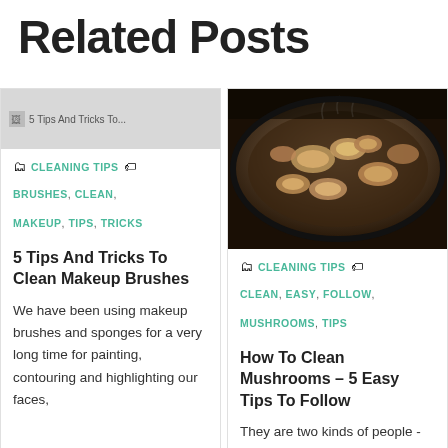Related Posts
[Figure (photo): Partially visible thumbnail image for makeup brushes post]
CLEANING TIPS
BRUSHES, CLEAN, MAKEUP, TIPS, TRICKS
5 Tips And Tricks To Clean Makeup Brushes
We have been using makeup brushes and sponges for a very long time for painting, contouring and highlighting our faces,
[Figure (photo): Photo of mushrooms cooking in a cast iron skillet, overhead view]
CLEANING TIPS
CLEAN, EASY, FOLLOW, MUSHROOMS, TIPS
How To Clean Mushrooms – 5 Easy Tips To Follow
They are two kinds of people - one who absolutely dislikes having mushrooms and others who are